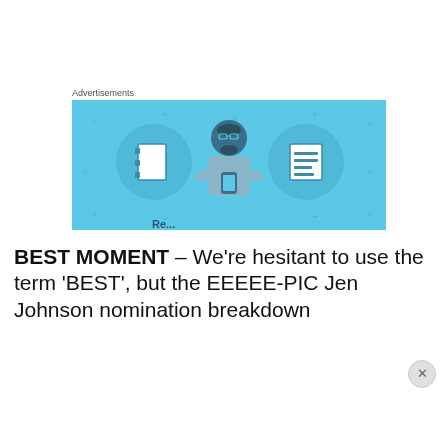Advertisements
[Figure (illustration): Advertisement banner with light blue background showing an illustrated person with notebook icons on either side, partially cut off at bottom]
BEST MOMENT – We're hesitant to use the term 'BEST', but the EEEEE-PIC Jen Johnson nomination breakdown
Privacy & Cookies: This site uses cookies. By continuing to use this website, you agree to their use.
To find out more, including how to control cookies, see here: Cookie Policy
Close and accept